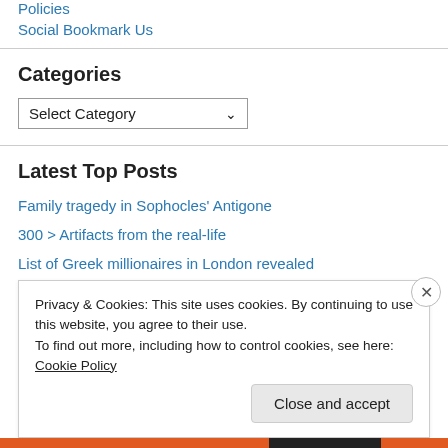Policies
Social Bookmark Us
Categories
Select Category
Latest Top Posts
Family tragedy in Sophocles' Antigone
300 > Artifacts from the real-life
List of Greek millionaires in London revealed
Privacy & Cookies: This site uses cookies. By continuing to use this website, you agree to their use.
To find out more, including how to control cookies, see here: Cookie Policy
Close and accept